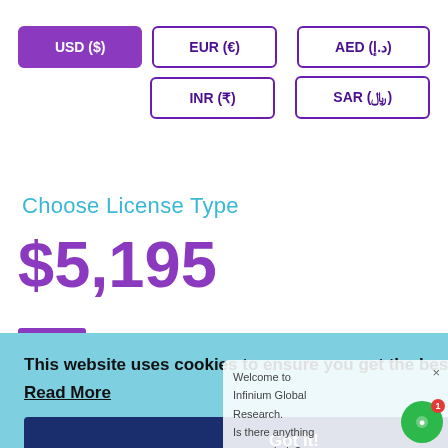[Figure (screenshot): Currency selector buttons: USD ($) selected (purple), EUR (€), AED (د.إ), INR (₹), SAR (﷼), all with purple borders]
Choose License Type
$5,195
This website uses cookies to ensure you get the best experience on our website.
Read More
Got it!
Welcome to Infinium Global Research. Is there anything we may help?
Customer  bot  Type